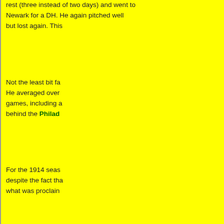rest (three instead of two days) and went to Newark for a DH. He again pitched well but lost again. This...
Not the least bit fazed by these setbacks, He averaged over... games, including a... behind the Philadelphia...
For the 1914 season... despite the fact that... what was proclaimed...
How Catfish Got His Nam...
[Figure (photo): Black and white photograph of 'Catfish' Hunter with a framed portrait]
"Catfish" Hunter